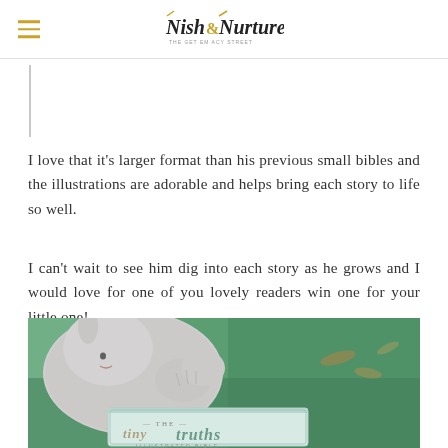Nish & Nurture
I love that it's larger format than his previous small bibles and the illustrations are adorable and helps bring each story to life so well.
I can't wait to see him dig into each story as he grows and I would love for one of you lovely readers win one for your little one!
[Figure (photo): A stuffed grey bunny toy lying on green grass next to a book titled 'The Tiny Truths Illustrated Bible']